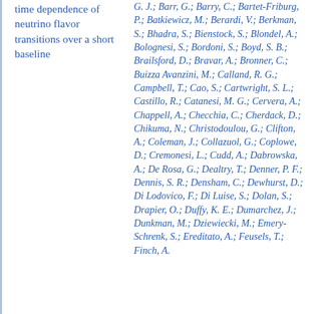time dependence of neutrino flavor transitions over a short baseline
G. J.; Barr, G.; Barry, C.; Bartet-Friburg, P.; Batkiewicz, M.; Berardi, V.; Berkman, S.; Bhadra, S.; Bienstock, S.; Blondel, A.; Bolognesi, S.; Bordoni, S.; Boyd, S. B.; Brailsford, D.; Bravar, A.; Bronner, C.; Buizza Avanzini, M.; Calland, R. G.; Campbell, T.; Cao, S.; Cartwright, S. L.; Castillo, R.; Catanesi, M. G.; Cervera, A.; Chappell, A.; Checchia, C.; Cherdack, D.; Chikuma, N.; Christodoulou, G.; Clifton, A.; Coleman, J.; Collazuol, G.; Coplowe, D.; Cremonesi, L.; Cudd, A.; Dabrowska, A.; De Rosa, G.; Dealtry, T.; Denner, P. F.; Dennis, S. R.; Densham, C.; Dewhurst, D.; Di Lodovico, F.; Di Luise, S.; Dolan, S.; Drapier, O.; Duffy, K. E.; Dumarchez, J.; Dunkman, M.; Dziewiecki, M.; Emery-Schrenk, S.; Ereditato, A.; Feusels, T.; Finch, A.